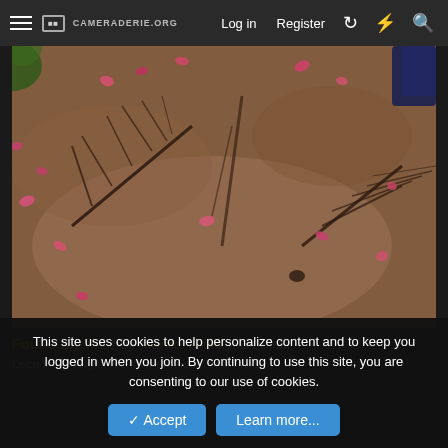cameraderie.org  Log in  Register
[Figure (photo): Aerial/close-up photo of sandy ground with pink flower petals scattered across it and dark shadows of bare branches visible on the sand. A dark blue object is visible in the upper right corner.]
Found my feet! by Marko Vallius, on Flickr
Leica M10, Voigtländer Color Skopar 21mm f/3.5
This site uses cookies to help personalize content and to keep you logged in when you join. By continuing to use this site, you are consenting to our use of cookies.
Accept  Learn more...